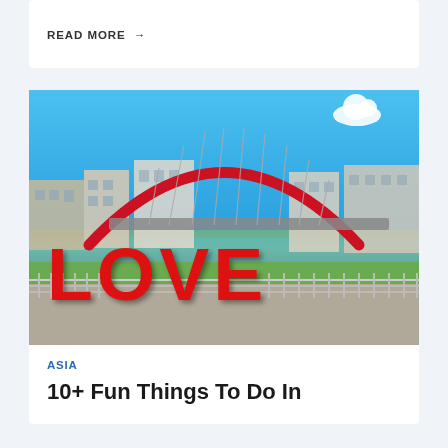READ MORE →
[Figure (photo): Photo of a large red LOVE sculpture in front of a red arch bridge over a river, with city buildings in the background under a blue sky with clouds. Location appears to be Taipei, Taiwan.]
ASIA
10+ Fun Things To Do In